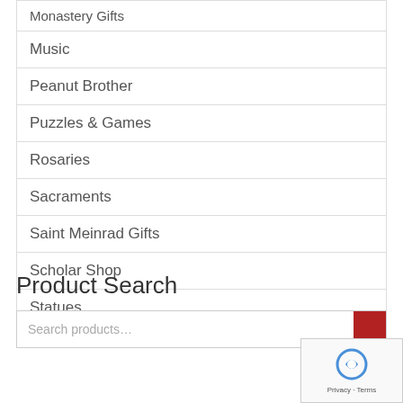Monastery Gifts
Music
Peanut Brother
Puzzles & Games
Rosaries
Sacraments
Saint Meinrad Gifts
Scholar Shop
Statues
Product Search
Search products...